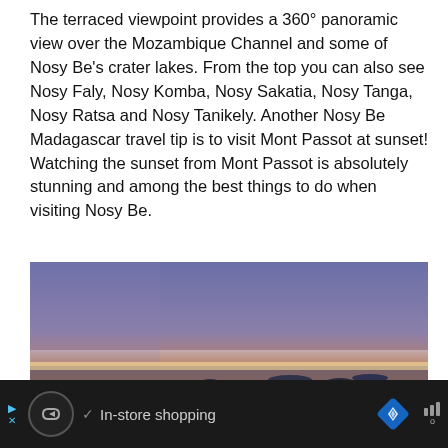The terraced viewpoint provides a 360° panoramic view over the Mozambique Channel and some of Nosy Be's crater lakes. From the top you can also see Nosy Faly, Nosy Komba, Nosy Sakatia, Nosy Tanga, Nosy Ratsa and Nosy Tanikely. Another Nosy Be Madagascar travel tip is to visit Mont Passot at sunset! Watching the sunset from Mont Passot is absolutely stunning and among the best things to do when visiting Nosy Be.
[Figure (photo): Panoramic sunset photo taken from Mont Passot viewpoint showing a dramatic orange and yellow sky at the horizon over the Mozambique Channel, with a crater lake visible in the foreground surrounded by dark landscape and islands in the distance.]
[Figure (other): Advertisement bar at the bottom with dark background showing a circular logo, checkmark, 'In-store shopping' text, navigation diamond icon, and signal bar icon.]